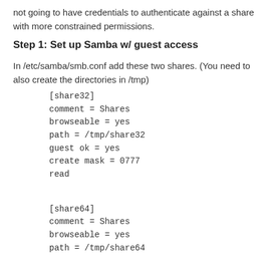not going to have credentials to authenticate against a share with more constrained permissions.
Step 1: Set up Samba w/ guest access
In /etc/samba/smb.conf add these two shares. (You need to also create the directories in /tmp)
[share32]
comment = Shares
browseable = yes
path = /tmp/share32
guest ok = yes
create mask = 0777
read only = no
[share64]
comment = Shares
browseable = yes
path = /tmp/share64